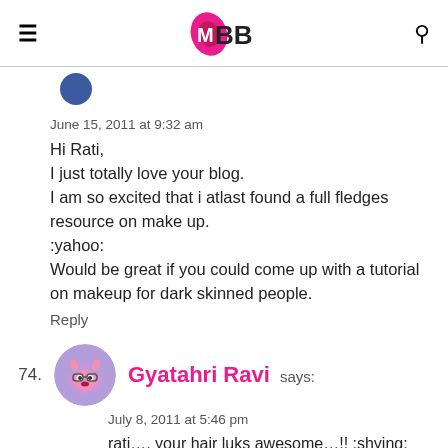IMBB
June 15, 2011 at 9:32 am
Hi Rati,
I just totally love your blog.
I am so excited that i atlast found a full fledges resource on make up.
:yahoo:
Would be great if you could come up with a tutorial on makeup for dark skinned people.
Reply
74. Gyatahri Ravi says:
July 8, 2011 at 5:46 pm
rati…. your hair luks awesome…!! :shying:
:waytogo: ! pls do a post on your hair care routine and how you"ll straight and how u keep it so